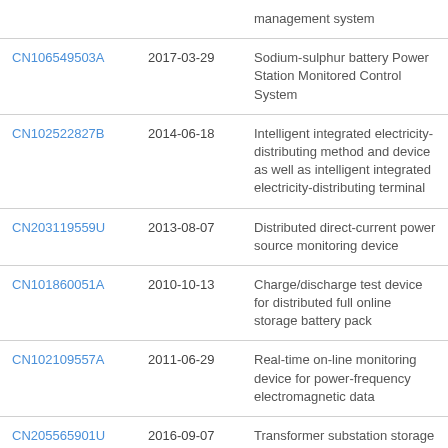| Patent ID | Date | Description |
| --- | --- | --- |
|  |  | management system |
| CN106549503A | 2017-03-29 | Sodium-sulphur battery Power Station Monitored Control System |
| CN102522827B | 2014-06-18 | Intelligent integrated electricity-distributing method and device as well as intelligent integrated electricity-distributing terminal |
| CN203119559U | 2013-08-07 | Distributed direct-current power source monitoring device |
| CN101860051A | 2010-10-13 | Charge/discharge test device for distributed full online storage battery pack |
| CN102109557A | 2011-06-29 | Real-time on-line monitoring device for power-frequency electromagnetic data |
| CN205565901U | 2016-09-07 | Transformer substation storage cell apparatus |